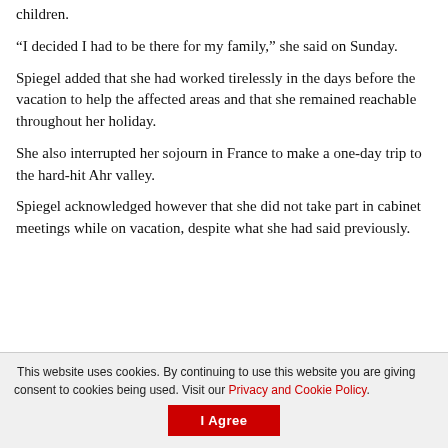children.
“I decided I had to be there for my family,” she said on Sunday.
Spiegel added that she had worked tirelessly in the days before the vacation to help the affected areas and that she remained reachable throughout her holiday.
She also interrupted her sojourn in France to make a one-day trip to the hard-hit Ahr valley.
Spiegel acknowledged however that she did not take part in cabinet meetings while on vacation, despite what she had said previously.
This website uses cookies. By continuing to use this website you are giving consent to cookies being used. Visit our Privacy and Cookie Policy.